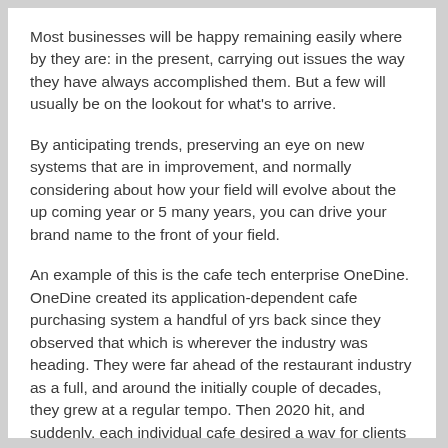Most businesses will be happy remaining easily where by they are: in the present, carrying out issues the way they have always accomplished them. But a few will usually be on the lookout for what's to arrive.
By anticipating trends, preserving an eye on new systems that are in improvement, and normally considering about how your field will evolve about the up coming year or 5 many years, you can drive your brand name to the front of your field.
An example of this is the cafe tech enterprise OneDine. OneDine created its application-dependent cafe purchasing system a handful of yrs back since they observed that which is wherever the industry was heading. They were far ahead of the restaurant industry as a full, and around the initially couple of decades, they grew at a regular tempo. Then 2020 hit, and suddenly, each individual cafe desired a way for clients to order and pay for their foods on the web.